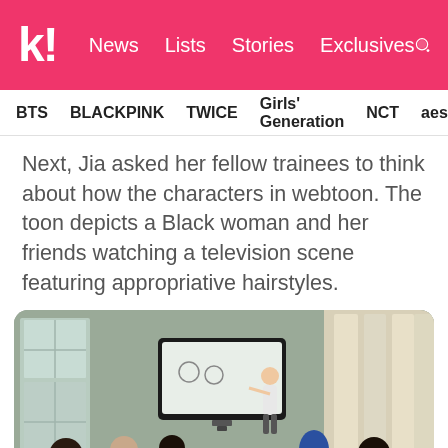k! News  Lists  Stories  Exclusives
BTS  BLACKPINK  TWICE  Girls' Generation  NCT  aespa
Next, Jia asked her fellow trainees to think about how the characters in webtoon. The toon depicts a Black woman and her friends watching a television scene featuring appropriative hairstyles.
[Figure (photo): A group of young women seated around a white conference table in a modern room, watching a presenter who stands next to a TV screen displaying a cartoon/webtoon. A small comic-strip card is visible on the table in the foreground.]